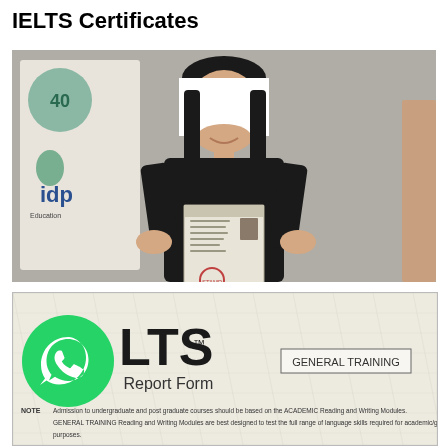IELTS Certificates
[Figure (photo): A woman holding an IELTS certificate with her face redacted by a white rectangle. She is wearing a black outfit and smiling. An IDP banner is visible in the background. A partial figure is visible on the right edge.]
[Figure (photo): Bottom portion of an IELTS Test Report Form showing the IELTS logo with a WhatsApp icon overlaid, 'LTS Test Report Form' text, a 'GENERAL TRAINING' badge, and a NOTE about admission requirements for academic and general training modules.]